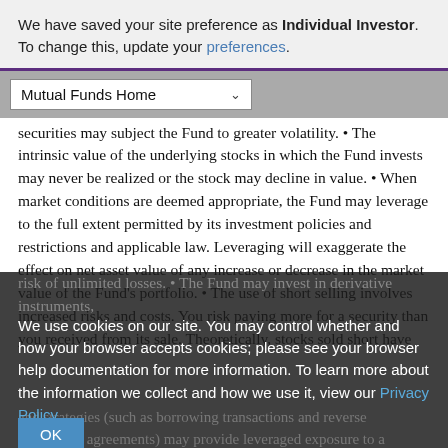We have saved your site preference as Individual Investor. To change this, update your preferences.
Mutual Funds Home
securities may subject the Fund to greater volatility. • The intrinsic value of the underlying stocks in which the Fund invests may never be realized or the stock may decline in value. • When market conditions are deemed appropriate, the Fund may leverage to the full extent permitted by its investment policies and restrictions and applicable law. Leveraging will exaggerate the effect on net asset value of any increase or decrease in the market value of the Fund's portfolio. • The use of short selling involves increased risks and costs. You risk paying more for a security than you received from its sale. Theoretically, stocks sold short have the risk of unlimited losses. • The Fund may invest in derivative instruments,
We use cookies on our site. You may control whether and how your browser accepts cookies; please see your browser help documentation for more information. To learn more about the information we collect and how we use it, view our Privacy Policy.
OK
and strategies (such as borrowing transactions and reverse repurchase agreements) may provide leveraged exposure to a particular investment, which will magnify any gains or losses on those investments. • Investments in reverse